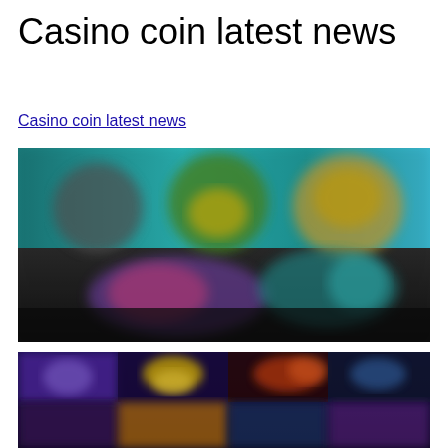Casino coin latest news
Casino coin latest news
[Figure (screenshot): Blurred screenshot of an online casino platform showing colorful game thumbnails and character graphics on a dark background with teal/blue upper section showing animated characters.]
[Figure (screenshot): Blurred screenshot of an online casino game grid showing colorful game tiles with purple, yellow, and red themed casino games on a dark background.]